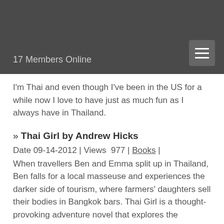17 Members Online
I'm Thai and even though I've been in the US for a while now I love to have just as much fun as I always have in Thailand.
» Thai Girl by Andrew Hicks
Date 09-14-2012 | Views  977 | Books |
When travellers Ben and Emma split up in Thailand, Ben falls for a local masseuse and experiences the darker side of tourism, where farmers' daughters sell their bodies in Bangkok bars. Thai Girl is a thought-provoking adventure novel that explores the problems of prostitution and cross-cultural relationships, and reaches its climax in the sultry heat of ThailandÃ•s exotic traveller beaches.